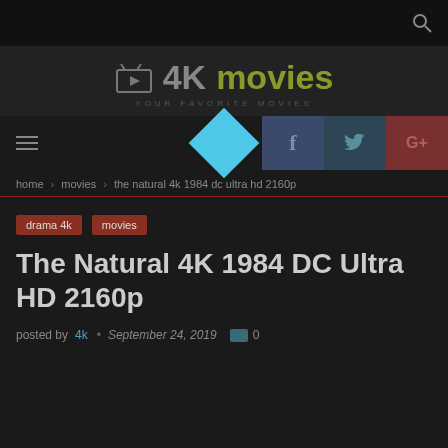4K movies — YOUR FAVORITE MOVIES
[Figure (logo): 4K Movies website logo with TV icon, text '4K movies' and tagline 'YOUR FAVORITE MOVIES']
[Figure (infographic): Navigation bar with hamburger menu icon, cyan diamond/chevron shape overlay, and social media buttons for Facebook, Twitter, Google+]
home › movies › the natural 4k 1984 dc ultra hd 2160p
drama 4k
movies
The Natural 4K 1984 DC Ultra HD 2160p
posted by 4k • September 24, 2019  0